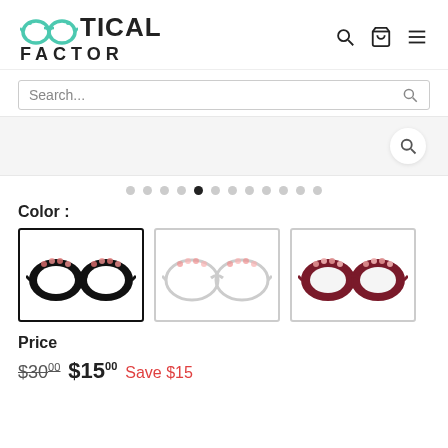[Figure (logo): Optical Factor logo with teal-colored glasses icon and text]
Search...
[Figure (screenshot): Gray banner with search icon button on the right]
[Figure (infographic): Carousel dot indicators, 12 dots with the 5th filled/active]
Color :
[Figure (photo): Three color options for eyeglasses frames: black with floral, white/clear with pink floral, and dark red with floral. The first (black) is selected with a bold border.]
Price
$30.00  $15.00  Save $15